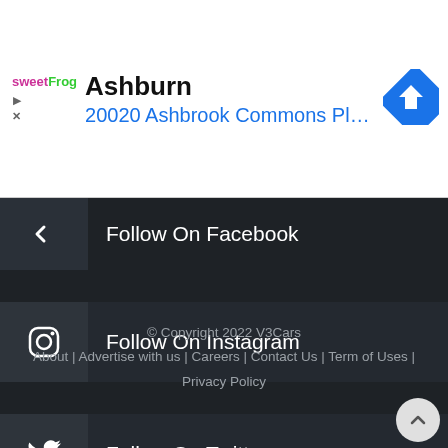[Figure (screenshot): Advertisement banner for sweetFrog showing Ashburn location at 20020 Ashbrook Commons Pla... with navigation icon]
Follow On Facebook
Follow On Instagram
Follow On Twitter
© Copyright 2022 V3Cars
About | Advertise with us | Careers | Contact Us | Term of Uses | Privacy Policy